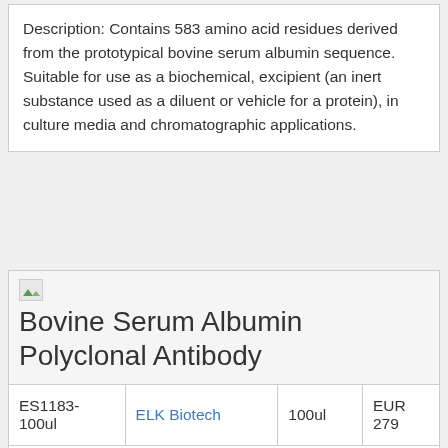Description: Contains 583 amino acid residues derived from the prototypical bovine serum albumin sequence. Suitable for use as a biochemical, excipient (an inert substance used as a diluent or vehicle for a protein), in culture media and chromatographic applications.
[Figure (other): Broken image placeholder icon (small, top-left of product card)]
Bovine Serum Albumin Polyclonal Antibody
|  |  |  |  |
| --- | --- | --- | --- |
| ES1183-100ul | ELK Biotech | 100ul | EUR 279 |
Description: A Rabbit Polyclonal antibody against Bovine Serum Albumin from...